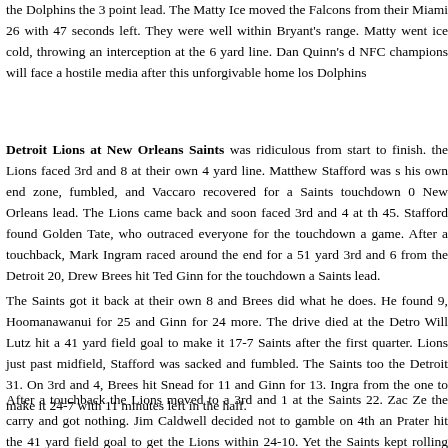the Dolphins the 3 point lead. The Matty Ice moved the Falcons from their Miami 26 with 47 seconds left. They were well within Bryant's range. Matty went ice cold, throwing an interception at the 6 yard line. Dan Quinn's d NFC champions will face a hostile media after this unforgivable home los Dolphins
Detroit Lions at New Orleans Saints was ridiculous from start to finish. the Lions faced 3rd and 8 at their own 4 yard line. Matthew Stafford was s his own end zone, fumbled, and Vaccaro recovered for a Saints touchdown 0 New Orleans lead. The Lions came back and soon faced 3rd and 4 at th 45. Stafford found Golden Tate, who outraced everyone for the touchdown a game. After a touchback, Mark Ingram raced around the end for a 51 yard 3rd and 6 from the Detroit 20, Drew Brees hit Ted Ginn for the touchdown a Saints lead.
The Saints got it back at their own 8 and Brees did what he does. He found 9, Hoomanawanui for 25 and Ginn for 24 more. The drive died at the Detro Will Lutz hit a 41 yard field goal to make it 17-7 Saints after the first quarter. Lions just past midfield, Stafford was sacked and fumbled. The Saints too the Detroit 31. On 3rd and 4, Brees hit Snead for 11 and Ginn for 13. Ingra from the one to make it 24-7 with 11 minutes left in the half.
After a touchback the Lions moved to a 3rd and 1 at the Saints 22. Zac Ze the carry and got nothing. Jim Caldwell decided not to gamble on 4th an Prater hit the 41 yard field goal to get the Lions within 24-10. Yet the Saints kept rolling like it was the glory days of a few years ago. On 4th and 1 Detroit 41, Sean Payton decided to go for it. Kamara got around the end fo gain. Brees went to Coleman for a 20 yard gain. With 1:48 left in the half.